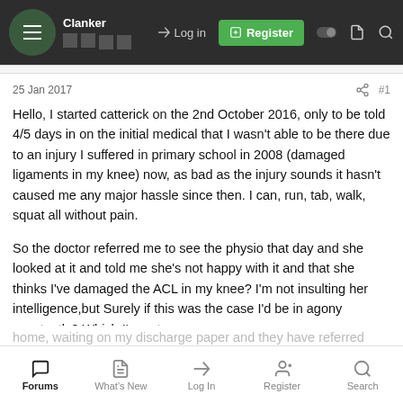Clanker | Log in | Register
25 Jan 2017  #1
Hello, I started catterick on the 2nd October 2016, only to be told 4/5 days in on the initial medical that I wasn't able to be there due to an injury I suffered in primary school in 2008 (damaged ligaments in my knee) now, as bad as the injury sounds it hasn't caused me any major hassle since then. I can, run, tab, walk, squat all without pain.
So the doctor referred me to see the physio that day and she looked at it and told me she's not happy with it and that she thinks I've damaged the ACL in my knee? I'm not insulting her intelligence,but Surely if this was the case I'd be in agony constantly? Which I'm not...
Forums | What's New | Log In | Register | Search